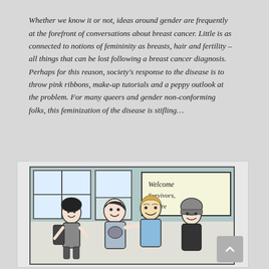Whether we know it or not, ideas around gender are frequently at the forefront of conversations about breast cancer. Little is as connected to notions of femininity as breasts, hair and fertility – all things that can be lost following a breast cancer diagnosis. Perhaps for this reason, society's response to the disease is to throw pink ribbons, make-up tutorials and a peppy outlook at the problem. For many queers and gender non-conforming folks, this feminization of the disease is stifling…
[Figure (illustration): Black and white comic panel illustration showing four young people (students) standing together in what appears to be a school or community center setting. In the background there are windows and a sign reading 'Welcome Survivors, You are...' The figures include a person with dark hair on the left, two persons in the middle, and a person with a beanie hat on the right.]